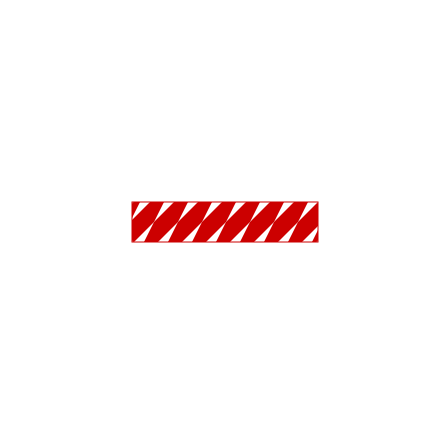[Figure (other): A rectangular hazard stripe pattern with diagonal red and white stripes, positioned in the upper-center area of the page.]